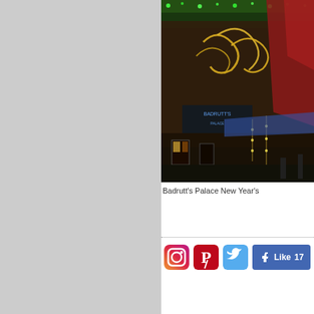[Figure (photo): Nighttime photo of Badrutt's Palace hotel decorated with Christmas and New Year's lights, showing golden swirl illuminations, green fairy lights, red fabric draping, and a lit storefront]
Badrutt's Palace New Year's
[Figure (infographic): Social media sharing bar with Instagram, Pinterest, Twitter icons and a Facebook Like button showing 17 likes]